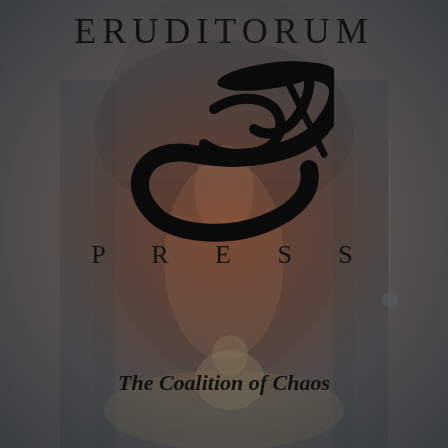[Figure (illustration): Background artwork showing a fantasy scene with arched doorway, mystical figure with long hair, and a rabbit/jester character in warm reddish-brown tones with a dark overlay gradient]
ERUDITORUM
[Figure (logo): Stylized cursive 'EP' monogram logo in black, resembling calligraphic letters with sweeping curves]
P R E S S
The Coalition of Chaos